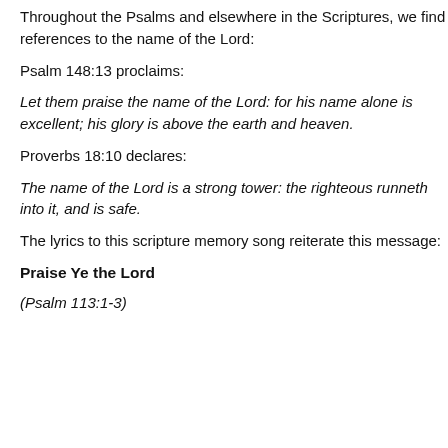Throughout the Psalms and elsewhere in the Scriptures, we find references to the name of the Lord:
Psalm 148:13 proclaims:
Let them praise the name of the Lord: for his name alone is excellent; his glory is above the earth and heaven.
Proverbs 18:10 declares:
The name of the Lord is a strong tower: the righteous runneth into it, and is safe.
The lyrics to this scripture memory song reiterate this message:
Praise Ye the Lord
(Psalm 113:1-3)